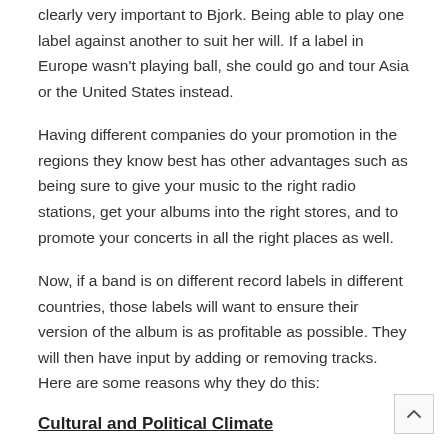clearly very important to Bjork. Being able to play one label against another to suit her will. If a label in Europe wasn't playing ball, she could go and tour Asia or the United States instead.
Having different companies do your promotion in the regions they know best has other advantages such as being sure to give your music to the right radio stations, get your albums into the right stores, and to promote your concerts in all the right places as well.
Now, if a band is on different record labels in different countries, those labels will want to ensure their version of the album is as profitable as possible. They will then have input by adding or removing tracks. Here are some reasons why they do this:
Cultural and Political Climate